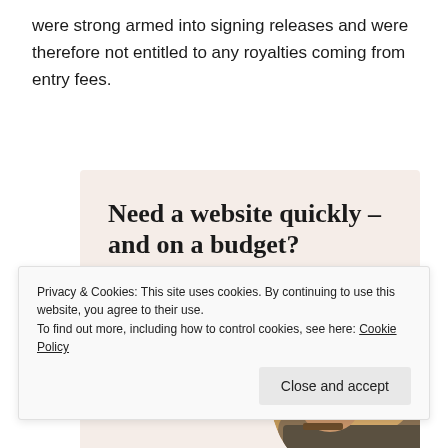were strong armed into signing releases and were therefore not entitled to any royalties coming from entry fees.
[Figure (infographic): Advertisement banner with beige background reading 'Need a website quickly – and on a budget? Let us build it for you' with a 'Let's get started' button and a circular photo of hands typing on a laptop.]
Privacy & Cookies: This site uses cookies. By continuing to use this website, you agree to their use.
To find out more, including how to control cookies, see here: Cookie Policy
Close and accept